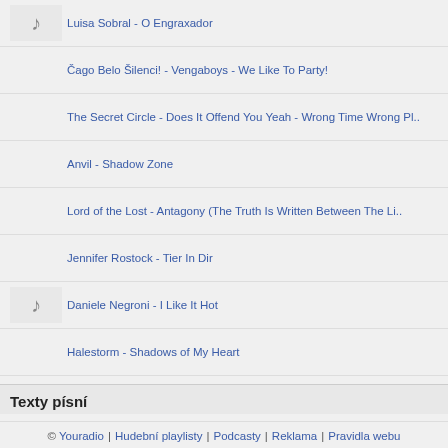Luisa Sobral - O Engraxador
Čago Belo Šilenci! - Vengaboys - We Like To Party!
The Secret Circle - Does It Offend You Yeah - Wrong Time Wrong Pl..
Anvil - Shadow Zone
Lord of the Lost - Antagony (The Truth Is Written Between The Li..
Jennifer Rostock - Tier In Dir
Daniele Negroni - I Like It Hot
Halestorm - Shadows of My Heart
Texty písní
Pill Shovel - Monster Magnet • Rockin´ Around The Christmas Tree - Kidz Bop • Galadriel - Čech • Hold On - Saxon • Going to Where the Tea-Trees Are - Peter Von Poehl • Twice The Escape • Victoria's Secret (live) - Sonata Arctica • The power of love po (2) - Diana Kalash • Afternoon - Alphaville • Ecco Noi - Renato Zero
© Youradio | Hudební playlisty | Podcasty | Reklama | Pravidla webu